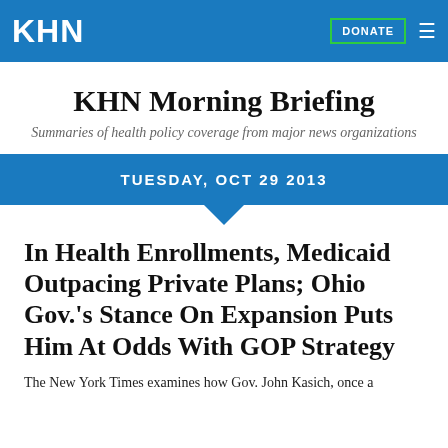KHN
KHN Morning Briefing
Summaries of health policy coverage from major news organizations
TUESDAY, OCT 29 2013
In Health Enrollments, Medicaid Outpacing Private Plans; Ohio Gov.'s Stance On Expansion Puts Him At Odds With GOP Strategy
The New York Times examines how Gov. John Kasich, once a